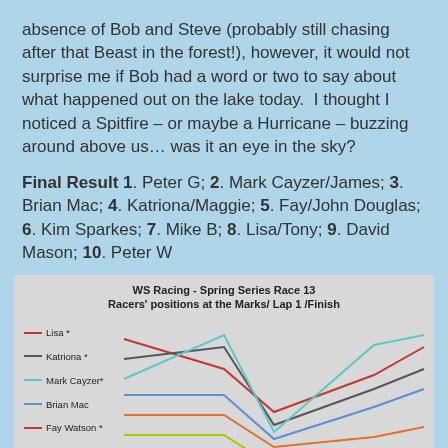absence of Bob and Steve (probably still chasing after that Beast in the forest!), however, it would not surprise me if Bob had a word or two to say about what happened out on the lake today.  I thought I noticed a Spitfire – or maybe a Hurricane – buzzing around above us… was it an eye in the sky?
Final Result 1. Peter G; 2. Mark Cayzer/James; 3. Brian Mac; 4. Katriona/Maggie; 5. Fay/John Douglas; 6. Kim Sparkes; 7. Mike B; 8. Lisa/Tony; 9. David Mason; 10. Peter W
[Figure (line-chart): WS Racing - Spring Series Race 13
Racers' positions at the Marks/ Lap 1 /Finish]